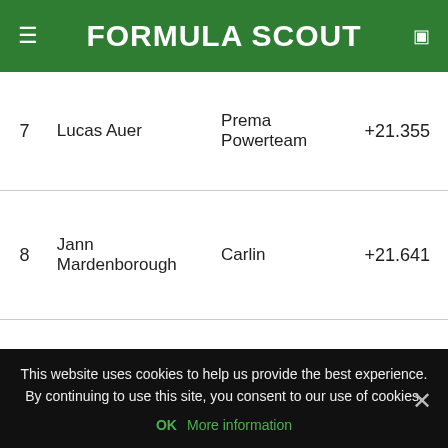FORMULA SCOUT
| Pos | Driver | Team | Gap |
| --- | --- | --- | --- |
| 7 | Lucas Auer | Prema Powerteam | +21.355 |
| 8 | Jann Mardenborough | Carlin | +21.641 |
| 9 | Harry Tincknell | Carlin | +28.931 |
| 10 | Nicholas Latifi | Carlin | +29.448 |
This website uses cookies to help us provide the best experience. By continuing to use this site, you consent to our use of cookies.
OK  More information